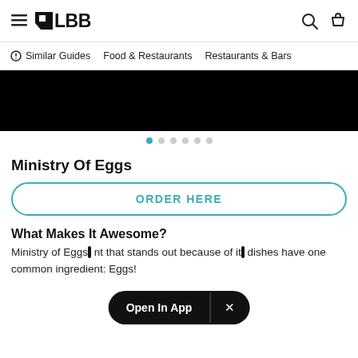≡ LBB  [search icon] [bag icon]
Similar Guides   Food & Restaurants   Restaurants & Bars
[Figure (photo): Black hero image banner]
[Figure (other): Carousel dots: 6 dots, first one active (teal), rest gray]
Ministry Of Eggs
ORDER HERE
What Makes It Awesome?
Ministry of Eggs is a restaurant that stands out because of it… dishes have one common ingredient: Eggs!
Open In App  ×